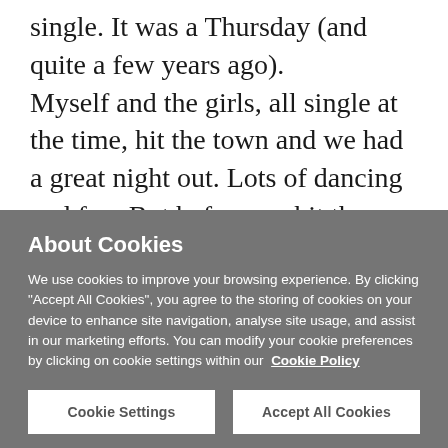single. It was a Thursday (and quite a few years ago). Myself and the girls, all single at the time, hit the town and we had a great night out. Lots of dancing and fun. But before we hit the town, I remember walking home from work and seeing this handsome guy walking down the street with a big silly grin on his face laden down with a huge bouquet of flowers. I remember thinking as well as I was looking...
About Cookies
We use cookies to improve your browsing experience. By clicking "Accept All Cookies", you agree to the storing of cookies on your device to enhance site navigation, analyse site usage, and assist in our marketing efforts. You can modify your cookie preferences by clicking on cookie settings within our Cookie Policy